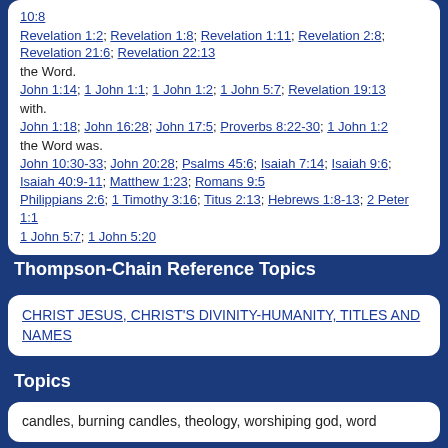10:8 Revelation 1:2; Revelation 1:8; Revelation 1:11; Revelation 2:8; Revelation 21:6; Revelation 22:13 the Word. John 1:14; 1 John 1:1; 1 John 1:2; 1 John 5:7; Revelation 19:13 with. John 1:18; John 16:28; John 17:5; Proverbs 8:22-30; 1 John 1:2 the Word was. John 10:30-33; John 20:28; Psalms 45:6; Isaiah 7:14; Isaiah 9:6; Isaiah 40:9-11; Matthew 1:23; Romans 9:5 Philippians 2:6; 1 Timothy 3:16; Titus 2:13; Hebrews 1:8-13; 2 Peter 1:1 1 John 5:7; 1 John 5:20
Thompson-Chain Reference Topics
CHRIST JESUS, CHRIST'S DIVINITY-HUMANITY, TITLES AND NAMES
Topics
candles, burning candles, theology, worshiping god, word